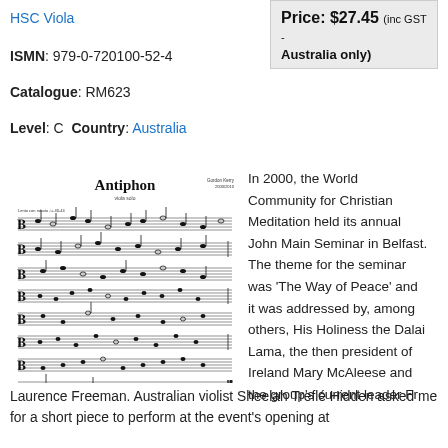HSC Viola
Price: $27.45 (inc GST - Australia only)
ISMN: 979-0-720100-52-4
Catalogue: RM623
Level: C Country: Australia
[Figure (illustration): Sheet music score for 'Antiphon' for viola solo by Gordon Kerry, showing multiple staves of musical notation]
In 2000, the World Community for Christian Meditation held its annual John Main Seminar in Belfast. The theme for the seminar was ‘The Way of Peace’ and it was addressed by, among others, His Holiness the Dalai Lama, the then president of Ireland Mary McAleese and the group's current leader Fr Laurence Freeman. Australian violist Sheelah Treflé Hidden asked me for a short piece to perform at the event's opening at